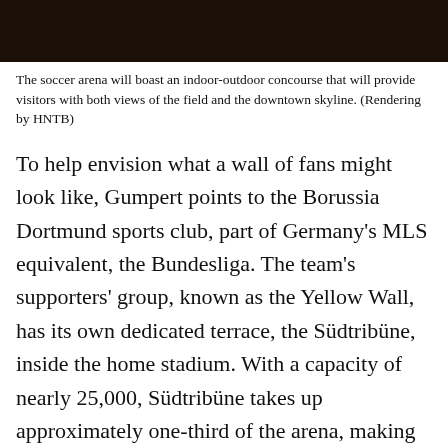[Figure (photo): Dark photo showing top portion of a soccer arena rendering, cropped at top of page]
The soccer arena will boast an indoor-outdoor concourse that will provide visitors with both views of the field and the downtown skyline. (Rendering by HNTB)
To help envision what a wall of fans might look like, Gumpert points to the Borussia Dortmund sports club, part of Germany's MLS equivalent, the Bundesliga. The team's supporters' group, known as the Yellow Wall, has its own dedicated terrace, the Südtribüne, inside the home stadium. With a capacity of nearly 25,000, Südtribüne takes up approximately one-third of the arena, making it the largest fan section in Europe—you can imagine the magical, mind-boggling effect this many people wearing